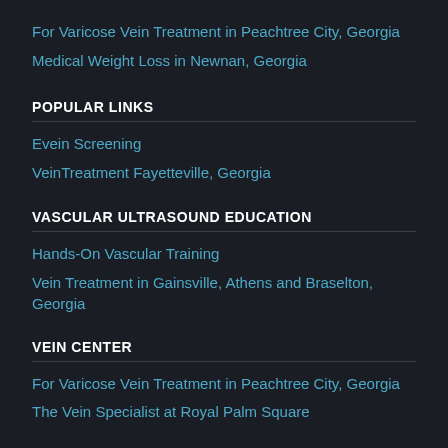For Varicose Vein Treatment in Peachtree City, Georgia
Medical Weight Loss in Newnan, Georgia
POPULAR LINKS
Evein Screening
VeinTreatment Fayetteville, Georgia
VASCULAR ULTRASOUND EDUCATION
Hands-On Vascular Training
Vein Treatment in Gainsville, Athens and Braselton, Georgia
VEIN CENTER
For Varicose Vein Treatment in Peachtree City, Georgia
The Vein Specialist at Royal Palm Square